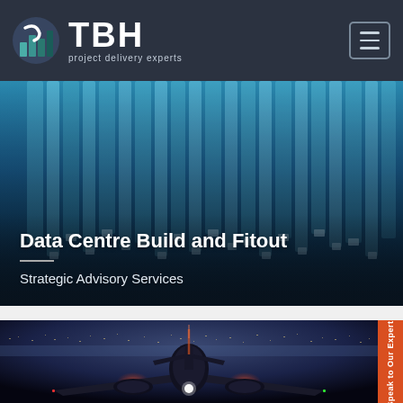[Figure (logo): TBH logo with building icon and text 'project delivery experts' on dark navy navbar with hamburger menu button]
[Figure (photo): Data centre server rack close-up with blue lighting. Text overlay: 'Data Centre Build and Fitout' and 'Strategic Advisory Services']
Data Centre Build and Fitout
Strategic Advisory Services
[Figure (photo): Airplane at night on runway with city lights in background, viewed from front/below]
Speak to Our Experts